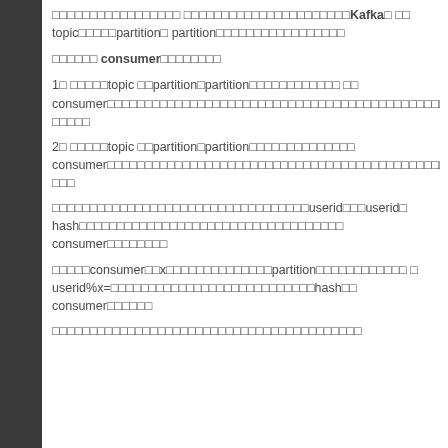□□□□□□□□□□□□□□□□□ □□□□□□□□□□□□□□□□□□□□□□Kafka□ □□ topic□□□□□partition□ partition□□□□□□□□□□□□□□□□□
□□□□□□ consumer□□□□□□□□
1□ □□□□□topic □□partition□partition□□□□□□□□□□□□ □□ consumer□□□□□□□□□□□□□□□□□□□□□□□□□□□□□□□□□□□□□□□□□□□□□□
2□ □□□□□topic □□partition□partition□□□□□□□□□□□□□□ consumer□□□□□□□□□□□□□□□□□□□□□□□□□□□□□□□□□□□□□□□□□□□□□
□□□□□□□□□□□□□□□□□□□□□□□□□□□□□□□□□□userid□□□userid□ hash□□□□□□□□□□□□□□□□□□□□□□□□□□□□□□□□□□□ consumer□□□□□□□□
□□□□□consumer□□x□□□□□□□□□□□□□□partition□□□□□□□□□□□□ □ userid%x=□□□□□□□□□□□□□□□□□□□□□□□□□□□hash□□ consumer□□□□□□
□□□□□□□□□□□□□□□□□□□□□□□□□□□□□□□□□□□□□□□□□